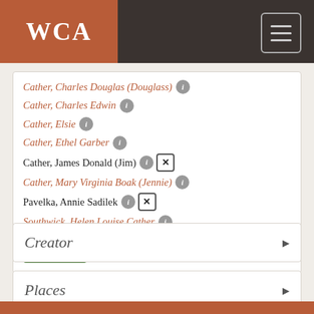WCA
Cather, Charles Douglas (Douglass)
Cather, Charles Edwin
Cather, Elsie
Cather, Ethel Garber
Cather, James Donald (Jim)
Cather, Mary Virginia Boak (Jennie)
Pavelka, Annie Sadilek
Southwick, Helen Louise Cather
See more
Creator
Places